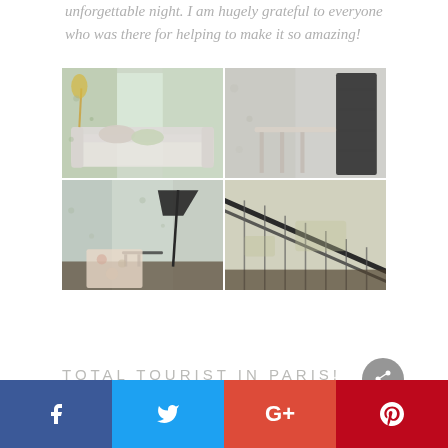unforgettable night. I am hugely grateful to everyone who was there for helping to make it so amazing!
[Figure (photo): A 2x2 grid of four interior/decor photographs showing floral patterned curtains, sofas, rugs, and architectural elements in muted, light-washed tones.]
TOTAL TOURIST IN PARIS!
Social share bar with Facebook, Twitter, Google+, and Pinterest buttons